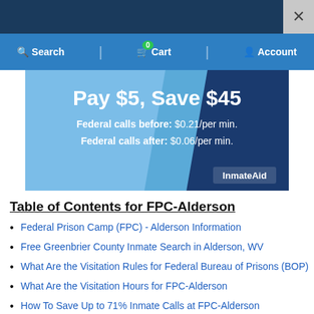[Figure (screenshot): Website navigation bar with dark blue background at top, then lighter blue bar with Search, Cart (0), and Account icons]
[Figure (infographic): Promotional banner: Pay $5, Save $45. Federal calls before: $0.21/per min. Federal calls after: $0.06/per min. InmateAid logo.]
Table of Contents for FPC-Alderson
Federal Prison Camp (FPC) - Alderson Information
Free Greenbrier County Inmate Search in Alderson, WV
What Are the Visitation Rules for Federal Bureau of Prisons (BOP)
What Are the Visitation Hours for FPC-Alderson
How To Save Up to 71% Inmate Calls at FPC-Alderson